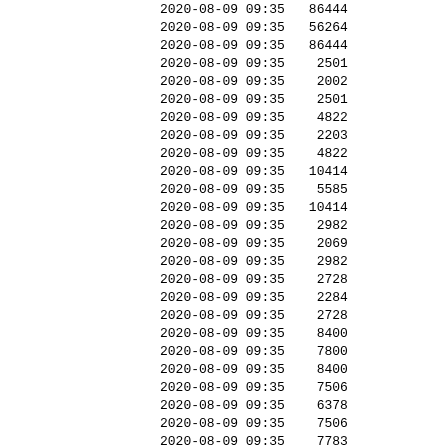| datetime | value |
| --- | --- |
| 2020-08-09 09:35 | 86444 |
| 2020-08-09 09:35 | 56264 |
| 2020-08-09 09:35 | 86444 |
| 2020-08-09 09:35 | 2501 |
| 2020-08-09 09:35 | 2002 |
| 2020-08-09 09:35 | 2501 |
| 2020-08-09 09:35 | 4822 |
| 2020-08-09 09:35 | 2203 |
| 2020-08-09 09:35 | 4822 |
| 2020-08-09 09:35 | 10414 |
| 2020-08-09 09:35 | 5585 |
| 2020-08-09 09:35 | 10414 |
| 2020-08-09 09:35 | 2982 |
| 2020-08-09 09:35 | 2069 |
| 2020-08-09 09:35 | 2982 |
| 2020-08-09 09:35 | 2728 |
| 2020-08-09 09:35 | 2284 |
| 2020-08-09 09:35 | 2728 |
| 2020-08-09 09:35 | 8400 |
| 2020-08-09 09:35 | 7800 |
| 2020-08-09 09:35 | 8400 |
| 2020-08-09 09:35 | 7506 |
| 2020-08-09 09:35 | 6378 |
| 2020-08-09 09:35 | 7506 |
| 2020-08-09 09:35 | 7783 |
| 2020-08-09 09:35 | 6975 |
| 2020-08-09 09:35 | 7783 |
| 2020-08-09 09:35 | 1448 |
| 2020-08-09 09:35 | 1448 |
| 2020-08-09 09:35 | 1448 |